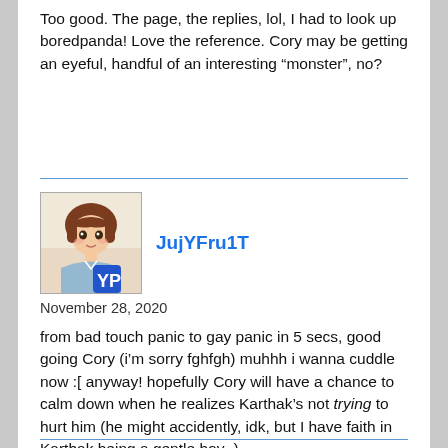Too good. The page, the replies, lol, I had to look up boredpanda! Love the reference. Cory may be getting an eyeful, handful of an interesting “monster”, no?
JujYFru1T
November 28, 2020
from bad touch panic to gay panic in 5 secs, good going Cory (i’m sorry fghfgh) muhhh i wanna cuddle now :[ anyway! hopefully Cory will have a chance to calm down when he realizes Karthak’s not trying to hurt him (he might accidently, idk, but I have faith in Karthak being a gentle boy~)